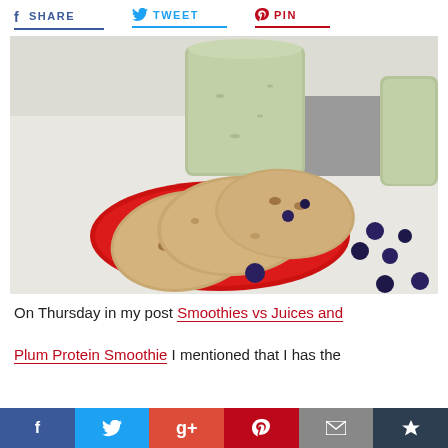SHARE   TWEET   PIN
[Figure (photo): Blueberry oatmeal cookies on a red plate with green smoothies in jars and loose blueberries on a white surface]
On Thursday in my post Smoothies vs Juices and Plum Protein Smoothie I mentioned that I has the
Social sharing buttons: Facebook, Twitter, Google+, Pinterest, Email, Crown